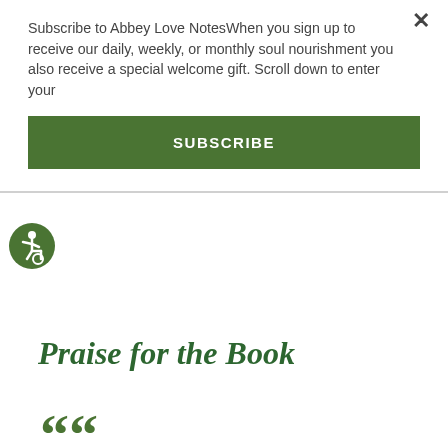Subscribe to Abbey Love NotesWhen you sign up to receive our daily, weekly, or monthly soul nourishment you also receive a special welcome gift. Scroll down to enter your
SUBSCRIBE
[Figure (infographic): Green circular accessibility icon with wheelchair user symbol in white]
Praise for the Book
““